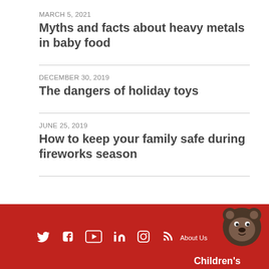MARCH 5, 2021
Myths and facts about heavy metals in baby food
DECEMBER 30, 2019
The dangers of holiday toys
JUNE 25, 2019
How to keep your family safe during fireworks season
About Us | Children's [logo]